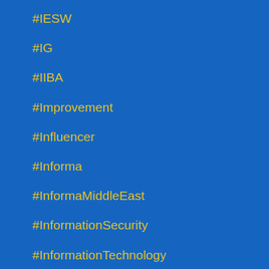#IESW
#IG
#IIBA
#Improvement
#Influencer
#Informa
#InformaMiddleEast
#InformationSecurity
#InformationTechnology
#InformationTechnology